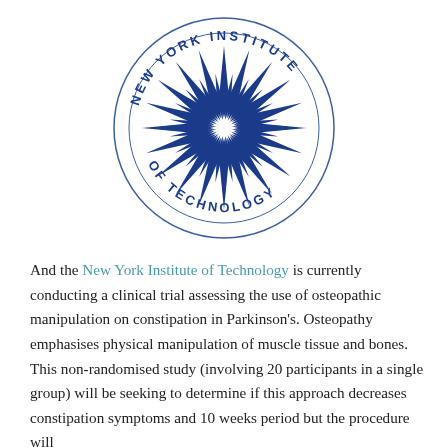[Figure (logo): New York Institute of Technology circular seal/logo with starburst design in dark blue]
And the New York Institute of Technology is currently conducting a clinical trial assessing the use of osteopathic manipulation on constipation in Parkinson's. Osteopathy emphasises physical manipulation of muscle tissue and bones. This non-randomised study (involving 20 participants in a single group) will be seeking to determine if this approach decreases constipation symptoms and 10 weeks period but the procedure will